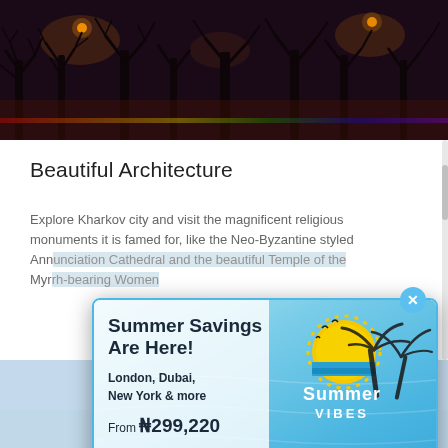[Figure (photo): Dark nighttime photo of bare trees with orange street lights visible through the branches, moody purple-brown tone]
Beautiful Architecture
Explore Kharkov city and visit the magnificent religious monuments it is famed for, like the Neo-Byzantine styled Ann[unciation Cathedral and the beautiful Temple of the] Myr[rh-bearing Women]
[Figure (photo): Light blue sky/outdoor image at bottom of page, partially visible]
[Figure (infographic): Summer travel advertisement popup overlay. Contains text 'Summer Savings Are Here! London, Dubai, New York & more From ₦299,220' with a Book Now button and Summer Vibes logo with baby floating in pool on red ring illustration. Blue close button (x) in top right corner.]